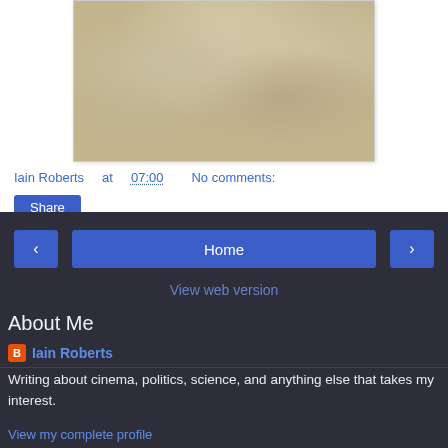[Figure (photo): Close-up photograph of sandy/grainy texture, beige and taupe tones, partially visible at top of page]
Iain Roberts at 07:00    No comments:
Share
‹
Home
›
View web version
About Me
Iain Roberts
Writing about cinema, politics, science, and anything else that takes my interest.
View my complete profile